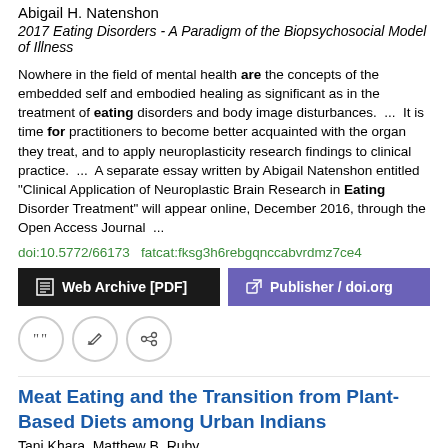Abigail H. Natenshon
2017 Eating Disorders - A Paradigm of the Biopsychosocial Model of Illness
Nowhere in the field of mental health are the concepts of the embedded self and embodied healing as significant as in the treatment of eating disorders and body image disturbances.  ...  It is time for practitioners to become better acquainted with the organ they treat, and to apply neuroplasticity research findings to clinical practice.  ...  A separate essay written by Abigail Natenshon entitled "Clinical Application of Neuroplastic Brain Research in Eating Disorder Treatment" will appear online, December 2016, through the Open Access Journal  ...
doi:10.5772/66173  fatcat:fksg3h6rebgqnccabvrdmz7ce4
Web Archive [PDF]
Publisher / doi.org
Meat Eating and the Transition from Plant-Based Diets among Urban Indians
Tani Khara, Matthew B. Ruby